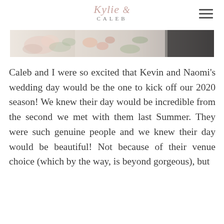Kylie & CALEB
[Figure (photo): A partial wedding photo strip showing floral arrangements and decorations in muted tones.]
Caleb and I were so excited that Kevin and Naomi's wedding day would be the one to kick off our 2020 season! We knew their day would be incredible from the second we met with them last Summer. They were such genuine people and we knew their day would be beautiful! Not because of their venue choice (which by the way, is beyond gorgeous), but